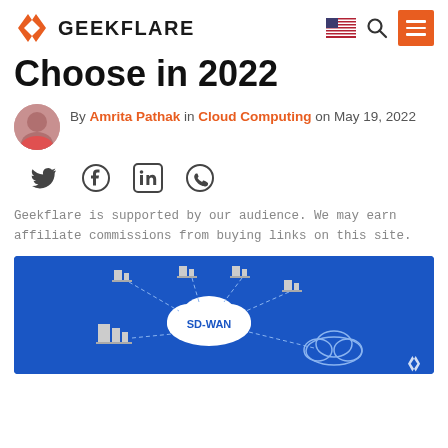GEEKFLARE
Choose in 2022
By Amrita Pathak in Cloud Computing on May 19, 2022
[Figure (illustration): Social share icons: Twitter, Facebook, LinkedIn, WhatsApp]
Geekflare is supported by our audience. We may earn affiliate commissions from buying links on this site.
[Figure (illustration): SD-WAN network diagram showing building nodes connected to a central SD-WAN cloud on a blue background]